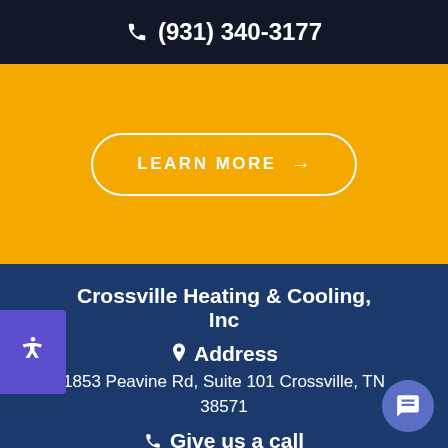📞 (931) 340-3177
[Figure (other): Orange call-to-action section with a 'LEARN MORE →' button in a white rounded border]
Crossville Heating & Cooling, Inc
📍 Address
1853 Peavine Rd, Suite 101 Crossville, TN 38571
📞 Give us a call